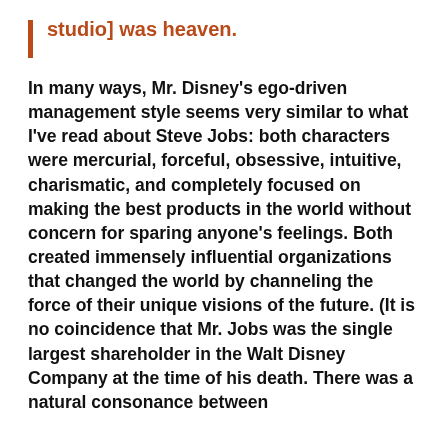studio] was heaven.
In many ways, Mr. Disney's ego-driven management style seems very similar to what I've read about Steve Jobs: both characters were mercurial, forceful, obsessive, intuitive, charismatic, and completely focused on making the best products in the world without concern for sparing anyone's feelings. Both created immensely influential organizations that changed the world by channeling the force of their unique visions of the future. (It is no coincidence that Mr. Jobs was the single largest shareholder in the Walt Disney Company at the time of his death. There was a natural consonance between